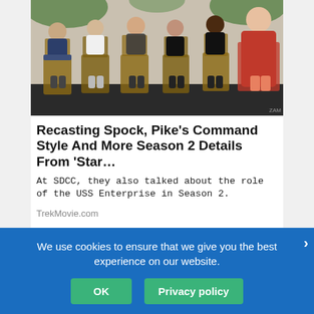[Figure (photo): Group of people seated in director's chairs at what appears to be an outdoor panel event (SDCC), including cast and crew members in casual attire against a bright outdoor background with foliage.]
Recasting Spock, Pike’s Command Style And More Season 2 Details From ‘Star…
At SDCC, they also talked about the role of the USS Enterprise in Season 2.
TrekMovie.com
[Figure (screenshot): Blue Facebook share button bar with 'f SHARE' text]
We use cookies to ensure that we give you the best experience on our website.
OK
Privacy policy
[Figure (screenshot): Blue like button bar partially visible]
[Figure (screenshot): Red Pinterest PIN button bar partially visible]